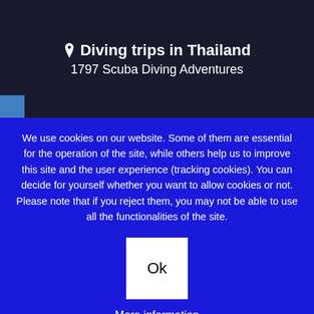Diving trips in Thailand
1797 Scuba Diving Adventures
We use cookies on our website. Some of them are essential for the operation of the site, while others help us to improve this site and the user experience (tracking cookies). You can decide for yourself whether you want to allow cookies or not. Please note that if you reject them, you may not be able to use all the functionalities of the site.
Ok
More information